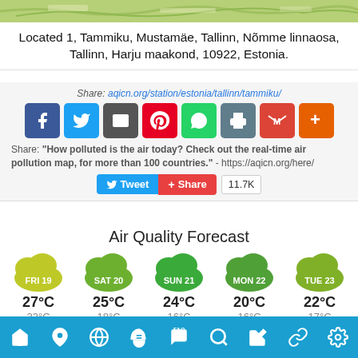[Figure (map): Map strip showing green terrain at the top of the page]
Located 1, Tammiku, Mustamäe, Tallinn, Nõmme linnaosa, Tallinn, Harju maakond, 10922, Estonia.
[Figure (infographic): Share section with URL aqicn.org/station/estonia/tallinn/tammiku/ and social media icons (Facebook, Twitter, Email, Pinterest, WhatsApp, Print, Gmail, More), share text with quote about air pollution map, and Tweet/Share buttons with 11.7K count]
Air Quality Forecast
[Figure (infographic): 5-day air quality forecast showing cloud badges for FRI 19, SAT 20, SUN 21, MON 22, TUE 23 with temperatures 27°C/23°C, 25°C/18°C, 24°C/16°C, 20°C/16°C, 22°C/17°C]
Navigation bar with home, location, globe, face mask, FAQ, search, user, link, settings icons